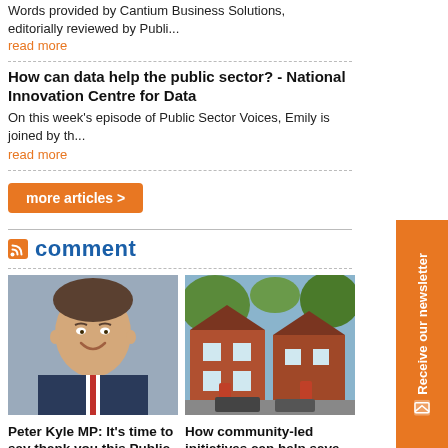Words provided by Cantium Business Solutions, editorially reviewed by Publi...
read more
How can data help the public sector? - National Innovation Centre for Data
On this week's episode of Public Sector Voices, Emily is joined by th...
read more
[Figure (other): Orange 'more articles >' button]
comment
[Figure (photo): Portrait photo of Peter Kyle MP, a man in a suit smiling]
Peter Kyle MP: It's time to say thank you this Public Service Day
Taking time to say thank you is one of the hidden pillars of a society. Bei...
[Figure (photo): Photo of a row of brick houses with cars parked outside]
How community-led initiatives can help save the housing shortage
Tom Chance, director at the National Community...
[Figure (other): Orange vertical sidebar with 'Receive our newsletter' text and envelope icon]